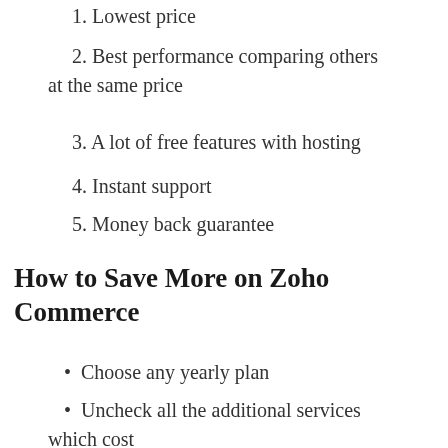1. Lowest price
2. Best performance comparing others at the same price
3. A lot of free features with hosting
4. Instant support
5. Money back guarantee
How to Save More on Zoho Commerce
Choose any yearly plan
Uncheck all the additional services which cost